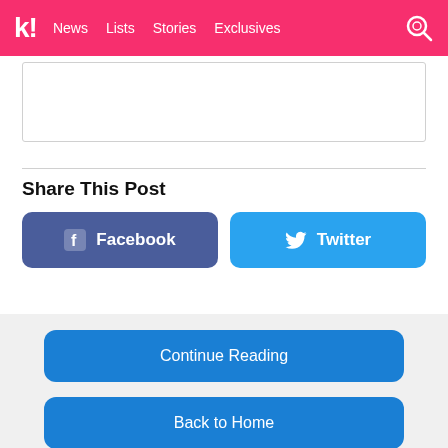kk! News  Lists  Stories  Exclusives
Share This Post
[Figure (other): Facebook share button - dark blue rounded rectangle with Facebook icon (f) and text 'Facebook']
[Figure (other): Twitter share button - light blue rounded rectangle with Twitter bird icon and text 'Twitter']
Continue Reading
Back to Home